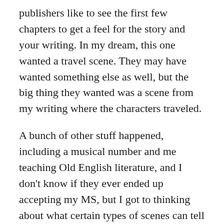publishers like to see the first few chapters to get a feel for the story and your writing. In my dream, this one wanted a travel scene. They may have wanted something else as well, but the big thing they wanted was a scene from my writing where the characters traveled.
A bunch of other stuff happened, including a musical number and me teaching Old English literature, and I don't know if they ever ended up accepting my MS, but I got to thinking about what certain types of scenes can tell us about writing, stories, characters, and writers. In thinking about what this dream-publisher was looking for, I wonder what they saw in a travel scene.
Character interaction would be huge. Half of what makes road trip movies like Fanboys or even Pee-Wee's Big Adventure so entertaining are the